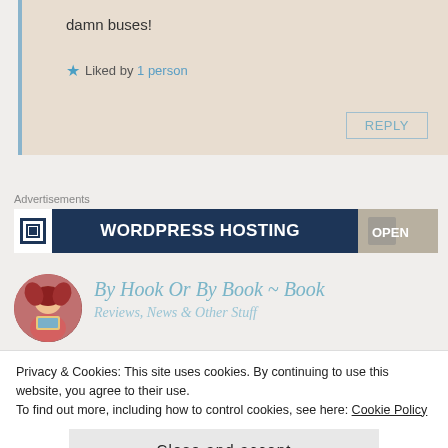damn buses!
★ Liked by 1 person
REPLY
Advertisements
[Figure (screenshot): WordPress Hosting advertisement banner with dark navy background, white icon, bold white text 'WORDPRESS HOSTING', and a small photo on the right]
[Figure (illustration): Circular avatar showing animated character (Belle from Beauty and the Beast) reading a book, red hair, pink/red dress]
By Hook Or By Book ~ Book
Privacy & Cookies: This site uses cookies. By continuing to use this website, you agree to their use.
To find out more, including how to control cookies, see here: Cookie Policy
Close and accept